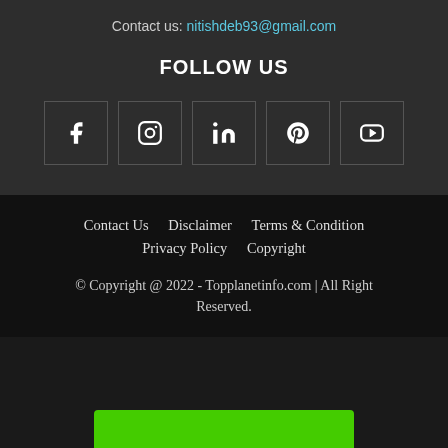Contact us: nitishdeb93@gmail.com
FOLLOW US
[Figure (infographic): Row of 5 social media icon boxes: Facebook, Instagram, LinkedIn, Pinterest, YouTube]
Contact Us   Disclaimer   Terms & Condition   Privacy Policy   Copyright
© Copyright @ 2022 - Topplanetinfo.com | All Right Reserved.